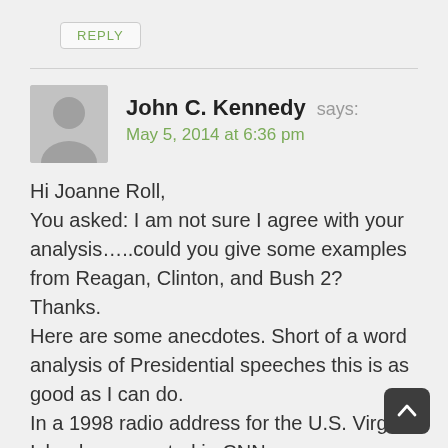REPLY
John C. Kennedy says:
May 5, 2014 at 6:36 pm
Hi Joanne Roll,
You asked: I am not sure I agree with your analysis…..could you give some examples from Reagan, Clinton, and Bush 2? Thanks.
Here are some anecdotes. Short of a word analysis of Presidential speeches this is as good as I can do.
In a 1998 radio address for the U.S. Virgin Island, as reported in CNN,